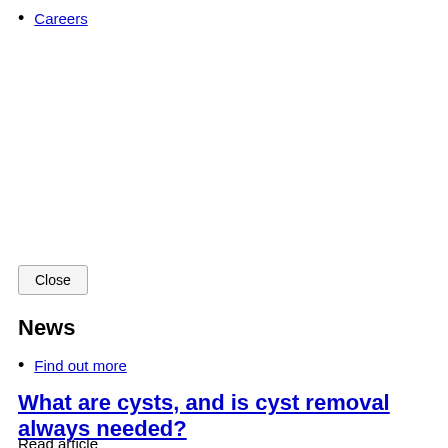Careers
News
Find out more
What are cysts, and is cyst removal always needed?
Read article